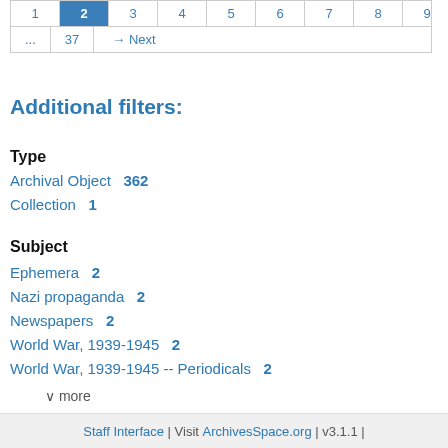[Figure (other): Pagination control showing page numbers 1-10 active on 2, plus ... 37 and Next button]
Additional filters:
Type
Archival Object  362
Collection  1
Subject
Ephemera  2
Nazi propaganda  2
Newspapers  2
World War, 1939-1945  2
World War, 1939-1945 -- Periodicals  2
∨ more
Staff Interface | Visit ArchivesSpace.org | v3.1.1 |